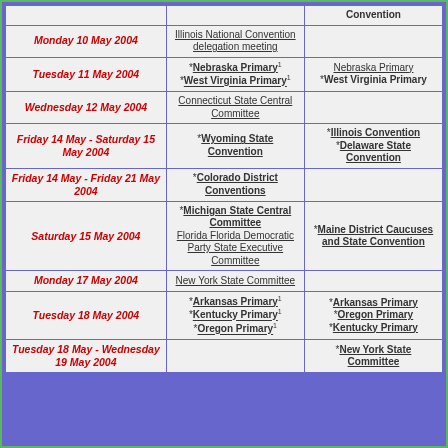| Date | Democratic Events | Republican Events |
| --- | --- | --- |
|  |  | Convention |
| Monday 10 May 2004 | Illinois National Convention delegation meeting |  |
| Tuesday 11 May 2004 | *Nebraska Primary¹ *West Virginia Primary¹ | Nebraska Primary *West Virginia Primary |
| Wednesday 12 May 2004 | Connecticut State Central Committee |  |
| Friday 14 May - Saturday 15 May 2004 | *Wyoming State Convention | *Illinois Convention *Delaware State Convention |
| Friday 14 May - Friday 21 May 2004 | *Colorado District Conventions |  |
| Saturday 15 May 2004 | *Michigan State Central Committee Florida Florida Democratic Party State Executive Committee | *Maine District Caucuses and State Convention |
| Monday 17 May 2004 | New York State Committee |  |
| Tuesday 18 May 2004 | *Arkansas Primary¹ *Kentucky Primary¹ *Oregon Primary¹ | *Arkansas Primary *Oregon Primary *Kentucky Primary |
| Tuesday 18 May - Wednesday 19 May 2004 |  | *New York State Committee |